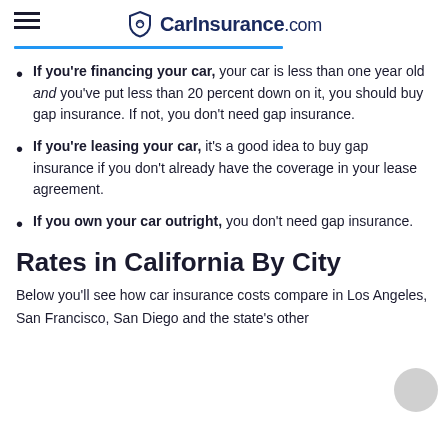CarInsurance.com
If you're financing your car, your car is less than one year old and you've put less than 20 percent down on it, you should buy gap insurance. If not, you don't need gap insurance.
If you're leasing your car, it's a good idea to buy gap insurance if you don't already have the coverage in your lease agreement.
If you own your car outright, you don't need gap insurance.
Rates in California By City
Below you'll see how car insurance costs compare in Los Angeles, San Francisco, San Diego and the state's other